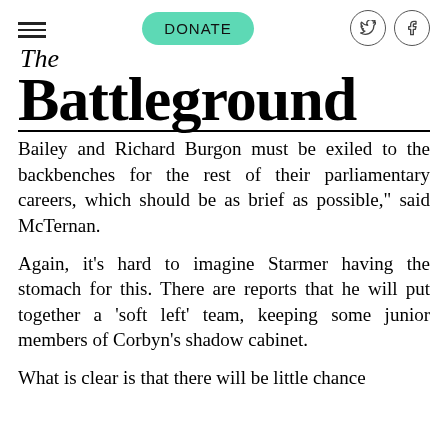DONATE
The Battleground
Bailey and Richard Burgon must be exiled to the backbenches for the rest of their parliamentary careers, which should be as brief as possible,” said McTernan.
Again, it’s hard to imagine Starmer having the stomach for this. There are reports that he will put together a ‘soft left’ team, keeping some junior members of Corbyn’s shadow cabinet.
What is clear is that there will be little chance